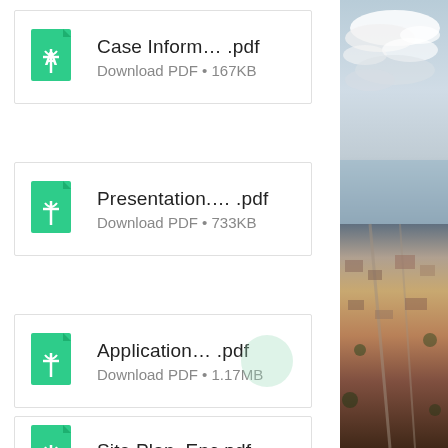Case Inform.... .pdf
Download PDF • 167KB
Presentation.... .pdf
Download PDF • 733KB
Application.... .pdf
Download PDF • 1.17MB
Site Plan_Enc.pdf
[Figure (photo): Aerial photo split: top half shows sky with clouds, bottom half shows aerial city/coastal view with roads and buildings]